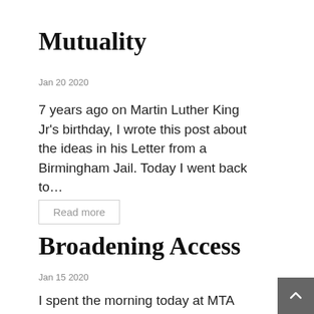Mutuality
Jan 20 2020
7 years ago on Martin Luther King Jr's birthday, I wrote this post about the ideas in his Letter from a Birmingham Jail. Today I went back to…
Read more
Broadening Access
Jan 15 2020
I spent the morning today at MTA headquarters, judging the “Accessibility” category of the NYC Transit Tech Lab competition, organized by